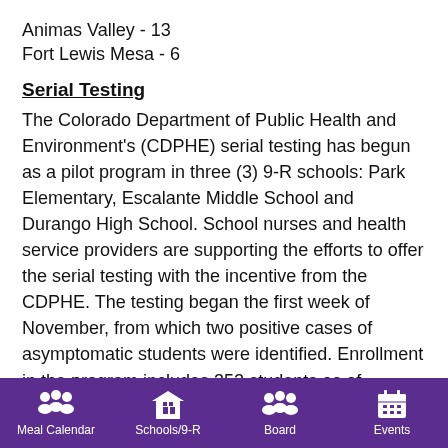Animas Valley - 13
Fort Lewis Mesa - 6
Serial Testing
The Colorado Department of Public Health and Environment's (CDPHE) serial testing has begun as a pilot program in three (3) 9-R schools: Park Elementary, Escalante Middle School and Durango High School. School nurses and health service providers are supporting the efforts to offer the serial testing with the incentive from the CDPHE. The testing began the first week of November, from which two positive cases of asymptomatic students were identified. Enrollment in the program includes 352 students as of Tuesday, November 30, 2021, and schools have administered a total of 755 tests. Students who participate in the program receive an initial incentive from CDPHE of $25, and then $10 for every subsequent test. We are
Meal Calendar | Schools/9-R | Board | Events